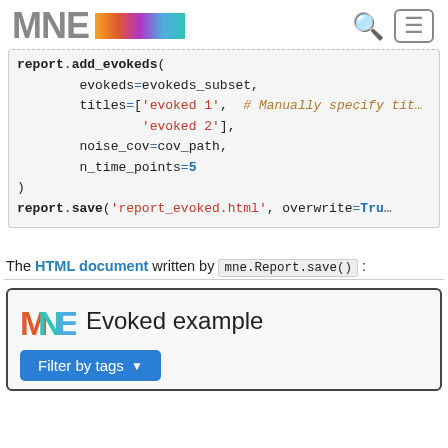MNE [logo gradient bar] [search icon] [menu icon]
[Figure (screenshot): Code block showing Python snippet: report.add_evokeds(evokeds=evokeds_subset, titles=['evoked 1', # Manually specify tit... 'evoked 2'], noise_cov=cov_path, n_time_points=5)
report.save('report_evoked.html', overwrite=True...]
The HTML document written by mne.Report.save() :
[Figure (screenshot): Screenshot of MNE HTML report showing 'MNE Evoked example' heading with colorful MNE logo and a blue 'Filter by tags' dropdown button.]